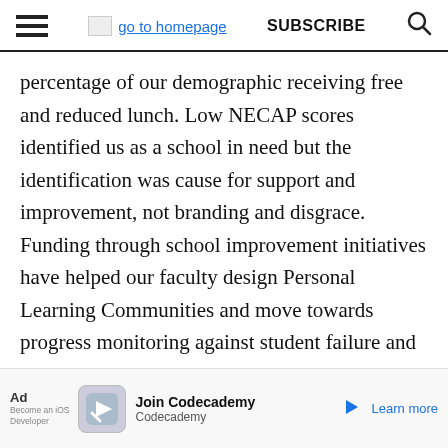go to homepage  SUBSCRIBE
percentage of our demographic receiving free and reduced lunch. Low NECAP scores identified us as a school in need but the identification was cause for support and improvement, not branding and disgrace. Funding through school improvement initiatives have helped our faculty design Personal Learning Communities and move towards progress monitoring against student failure and dropout. For the most part, teachers accept these changes. In an exciting phase of the initiative our administration made the d...gies for e...high
[Figure (screenshot): Advertisement bar at bottom of page: 'Ad' label, Codecademy iOS Developer ad with icon, 'Join Codecademy' text, 'Learn more' link, and play button arrow icon.]